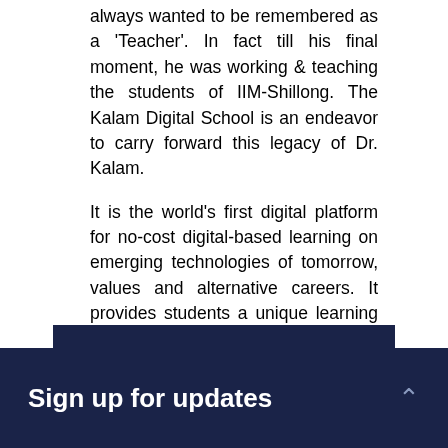always wanted to be remembered as a 'Teacher'. In fact till his final moment, he was working & teaching the students of IIM-Shillong. The Kalam Digital School is an endeavor to carry forward this legacy of Dr. Kalam.
It is the world's first digital platform for no-cost digital-based learning on emerging technologies of tomorrow, values and alternative careers. It provides students a unique learning experience as they get an opportunity to learn and be a student of none other than Dr. Kalam himself.
Know More
Sign up for updates